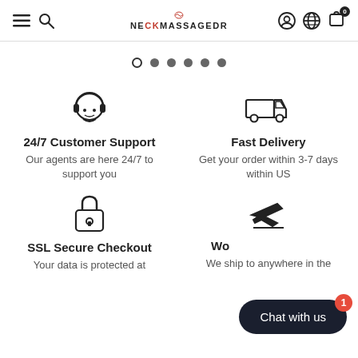NECKMASSAGEDR — Navigation bar with menu, search, account, language, and cart icons
[Figure (other): Carousel pagination dots — one open circle and five filled circles]
[Figure (infographic): Four feature icons and text: 24/7 Customer Support (headset icon), Fast Delivery (truck icon), SSL Secure Checkout (lock icon), Worldwide Shipping (airplane icon)]
[Figure (other): Chat with us button overlay with badge number 1]